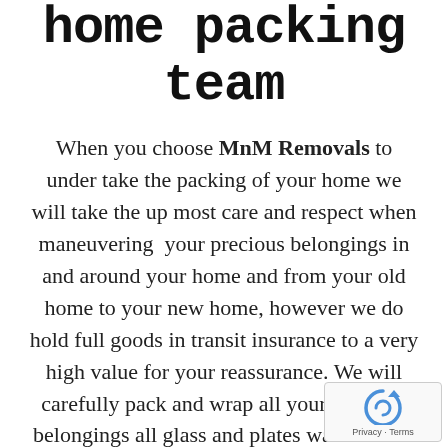home packing team
When you choose MnM Removals to under take the packing of your home we will take the up most care and respect when maneuvering  your precious belongings in and around your home and from your old home to your new home, however we do hold full goods in transit insurance to a very high value for your reassurance. We will carefully pack and wrap all your precious belongings all glass and plates ware will be bubble wrapped before being placed into the removal boxes. All large furniture will be wrapped u with bubble wrap, this will ensure the maxim...